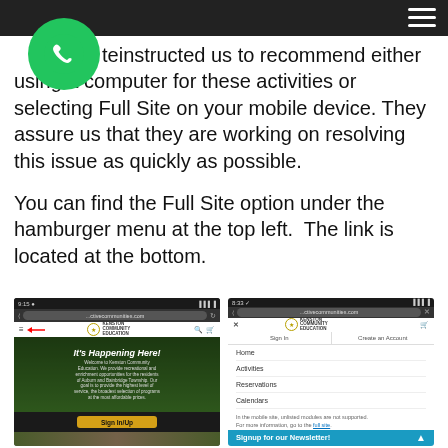Navigation header bar with hamburger menu
te instructed us to recommend either using a computer for these activities or selecting Full Site on your mobile device. They assure us that they are working on resolving this issue as quickly as possible.
You can find the Full Site option under the hamburger menu at the top left.  The link is located at the bottom.
[Figure (screenshot): Two mobile phone screenshots showing the Kenston Community Education website. Left screenshot shows the homepage with a hamburger menu icon (with red arrow pointing to it), hero image reading 'It's Happening Here!', and a Sign In/Up button. Right screenshot shows the expanded hamburger menu with Sign In, Create an Account options, and menu items: Home, Activities, Reservations, Calendars, plus a note about mobile site limitations with a link to Full Site. A teal 'Signup for our Newsletter!' bar overlays the bottom of the right screenshot.]